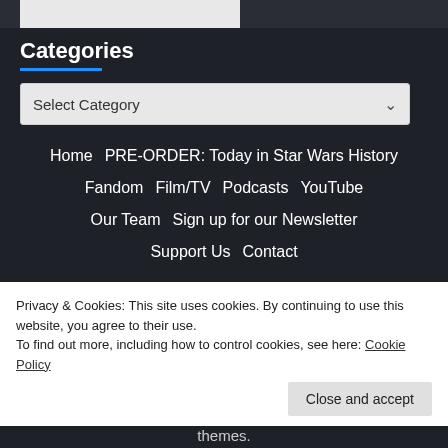Categories
Select Category
Home
PRE-ORDER: Today in Star Wars History
Fandom
Film/TV
Podcasts
YouTube
Our Team
Sign up for our Newsletter
Support Us
Contact
Privacy & Cookies: This site uses cookies. By continuing to use this website, you agree to their use. To find out more, including how to control cookies, see here: Cookie Policy
Close and accept
themes.